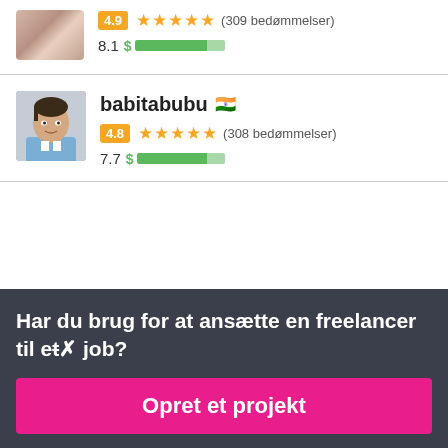[Figure (photo): Partial avatar image of first user at top]
4.9 ★★★★★ (309 bedømmelser)
8.1 $ ██████████░░ (green bar rating)
[Figure (photo): Profile photo of babitabubu, a man in a light blue shirt]
babitabubu 🇮🇳
4.8 ★★★★★ (308 bedømmelser)
7.7 $ ██████████░░ (green bar rating)
Har du brug for at ansætte en freelancer til et job?
Opret et projekt